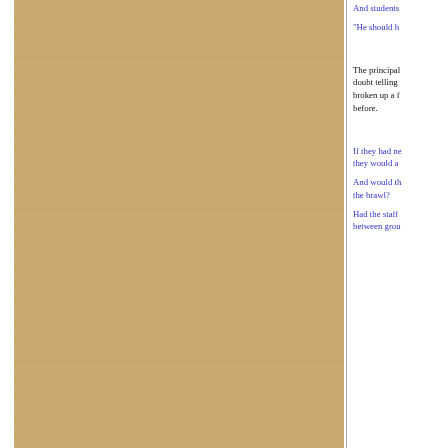And students
"He should h
The principal doubt telling broken up a f before.
If they had ne they would a
And would th the brawl?
Had the staff between grou